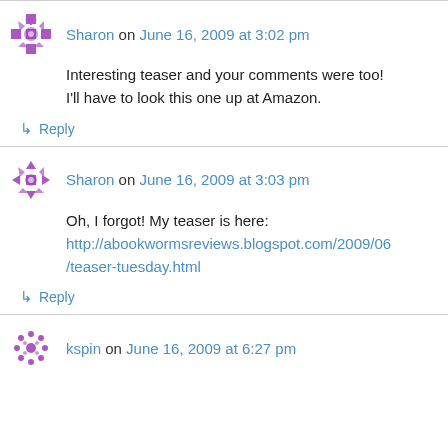Sharon on June 16, 2009 at 3:02 pm
Interesting teaser and your comments were too! I'll have to look this one up at Amazon.
↳ Reply
Sharon on June 16, 2009 at 3:03 pm
Oh, I forgot! My teaser is here: http://abookwormsreviews.blogspot.com/2009/06/teaser-tuesday.html
↳ Reply
kspin on June 16, 2009 at 6:27 pm